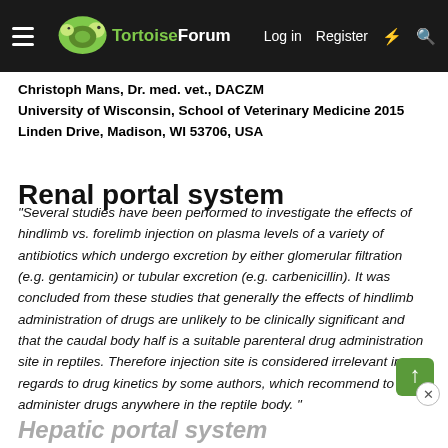TortoiseForum — Log in   Register
Christoph Mans, Dr. med. vet., DACZM University of Wisconsin, School of Veterinary Medicine 2015 Linden Drive, Madison, WI 53706, USA
Renal portal system
"Several studies have been performed to investigate the effects of hindlimb vs. forelimb injection on plasma levels of a variety of antibiotics which undergo excretion by either glomerular filtration (e.g. gentamicin) or tubular excretion (e.g. carbenicillin). It was concluded from these studies that generally the effects of hindlimb administration of drugs are unlikely to be clinically significant and that the caudal body half is a suitable parenteral drug administration site in reptiles. Therefore injection site is considered irrelevant in regards to drug kinetics by some authors, which recommend to administer drugs anywhere in the reptile body. "
Hepatic portal system